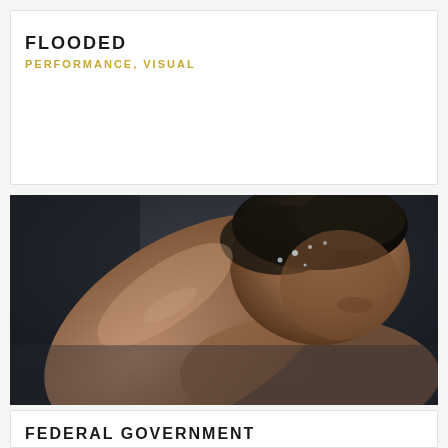FLOODED
PERFORMANCE, VISUAL
[Figure (photo): Close-up photograph of a man with wet hair and skin, head bowed, arm raised near his face, in dark moody lighting]
FEDERAL GOVERNMENT